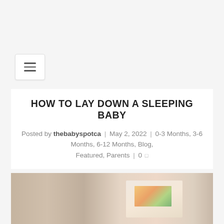[Figure (screenshot): Hamburger menu button (three horizontal lines) on a light gray background, top-left area of a website navigation]
HOW TO LAY DOWN A SLEEPING BABY
Posted by thebabyspotca | May 2, 2022 | 0-3 Months, 3-6 Months, 6-12 Months, Blog, Featured, Parents | 0
[Figure (photo): A blurred photo of what appears to be baby items — cylindrical containers or bottles in neutral beige/tan tones, with one item showing colorful patterns on the right side]